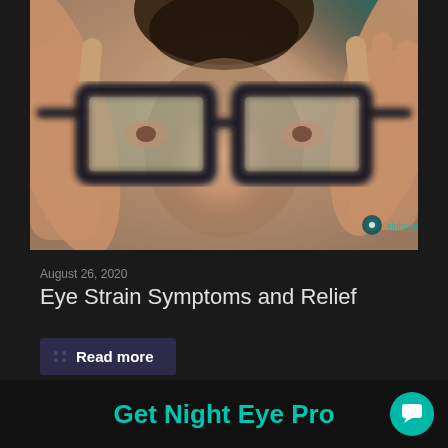[Figure (photo): Person holding up a pair of dark-framed glasses in front of their face, seen through the lenses. Background is blurred with teal/green tones. Sightsaur.app watermark in bottom right.]
August 26, 2020
Eye Strain Symptoms and Relief
Read more
Get Night Eye Pro